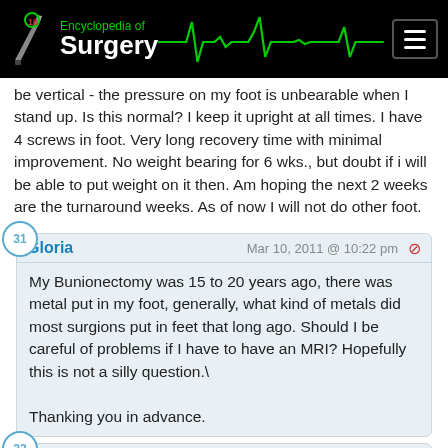Encyclopedia of Surgery
be vertical - the pressure on my foot is unbearable when I stand up. Is this normal? I keep it upright at all times. I have 4 screws in foot. Very long recovery time with minimal improvement. No weight bearing for 6 wks., but doubt if i will be able to put weight on it then. Am hoping the next 2 weeks are the turnaround weeks. As of now I will not do other foot.
Gloria — Mar 10, 2011 @ 10:22 pm — comment 31
My Bunionectomy was 15 to 20 years ago, there was metal put in my foot, generally, what kind of metals did most surgions put in feet that long ago. Should I be careful of problems if I have to have an MRI? Hopefully this is not a silly question.\

Thanking you in advance.
Dianne — Mar 15, 2011 @ 6:18 pm — comment 32
I had my bunion surgery on 3/4. I am 63 years young and retired. My doctor is cheif of podiatry at his hospital